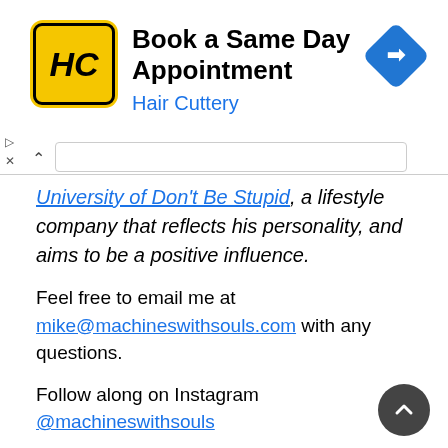[Figure (infographic): Advertisement banner for Hair Cuttery: yellow logo with HC text, title 'Book a Same Day Appointment', subtitle 'Hair Cuttery', blue diamond navigation icon on right.]
University of Don't Be Stupid, a lifestyle company that reflects his personality, and aims to be a positive influence.
Feel free to email me at mike@machineswithsouls.com with any questions.
Follow along on Instagram @machineswithsouls
LEGAL
Due to factors beyond the control of Machines With Souls LLC and Mike D'Ambrosio, I cannot